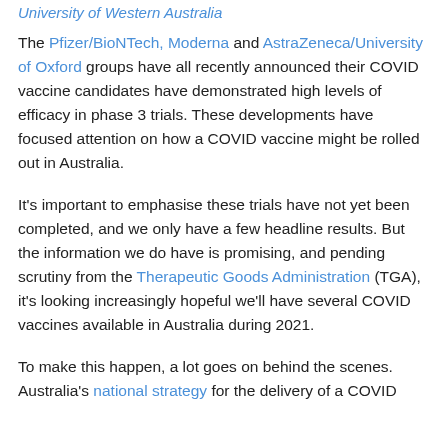University of Western Australia
The Pfizer/BioNTech, Moderna and AstraZeneca/University of Oxford groups have all recently announced their COVID vaccine candidates have demonstrated high levels of efficacy in phase 3 trials. These developments have focused attention on how a COVID vaccine might be rolled out in Australia.
It's important to emphasise these trials have not yet been completed, and we only have a few headline results. But the information we do have is promising, and pending scrutiny from the Therapeutic Goods Administration (TGA), it's looking increasingly hopeful we'll have several COVID vaccines available in Australia during 2021.
To make this happen, a lot goes on behind the scenes. Australia's national strategy for the delivery of a COVID